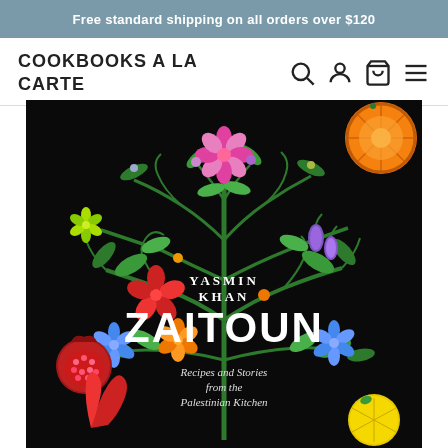Free standard shipping on all orders over $120
COOKBOOKS A LA CARTE
[Figure (illustration): Book cover of Zaitoun by Yasmin Khan showing colorful folk art illustrations of plants, flowers, fruits and vegetables on a black background. Text reads: YASMIN KHAN ZAITOUN Recipes and Stories from the Palestinian Kitchen]